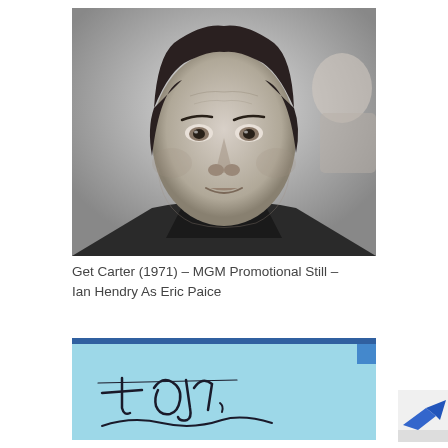[Figure (photo): Black and white promotional still photo of Ian Hendry as Eric Paice from the 1971 MGM film Get Carter. Close-up portrait of a middle-aged man with dark wavy hair, intense expression, wearing a dark jacket.]
Get Carter (1971) – MGM Promotional Still – Ian Hendry As Eric Paice
[Figure (photo): Partial view of a handwritten autograph on light blue paper, reading 'To Jon...' with a signature beginning to appear at the bottom right. A small portion of what appears to be a blue authentication sticker is visible at the upper right.]
[Figure (logo): Partial view of a blue authentication or certification logo/sticker in the bottom right corner.]